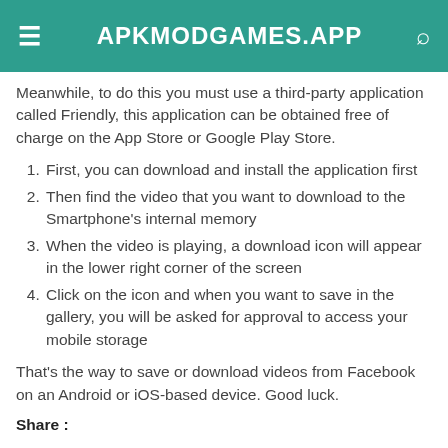APKMODGAMES.APP
Meanwhile, to do this you must use a third-party application called Friendly, this application can be obtained free of charge on the App Store or Google Play Store.
First, you can download and install the application first
Then find the video that you want to download to the Smartphone's internal memory
When the video is playing, a download icon will appear in the lower right corner of the screen
Click on the icon and when you want to save in the gallery, you will be asked for approval to access your mobile storage
That's the way to save or download videos from Facebook on an Android or iOS-based device. Good luck.
Share :